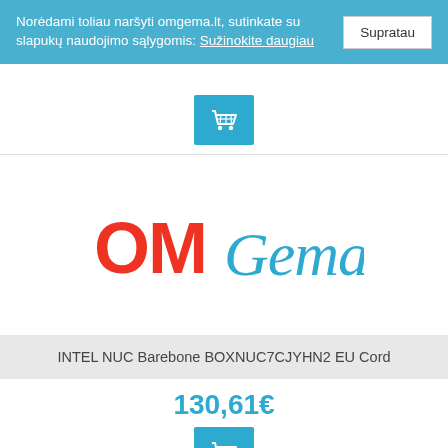Norėdami toliau naršyti omgema.lt, sutinkate su slapukų naudojimo sąlygomis: Sužinokite daugiau [Supratau]
[Figure (screenshot): Shopping cart icon in blue square button]
[Figure (logo): OMGema logo - OM in red bold letters, Gema in light blue cursive script]
INTEL NUC Barebone BOXNUC7CJYHN2 EU Cord
130,61€
[Figure (screenshot): Shopping cart icon in blue square button]